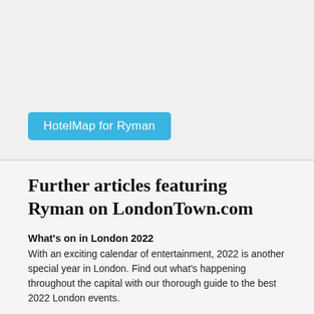[Figure (other): Top area with light gray background, empty space with a blue button labeled 'HotelMap for Ryman']
Further articles featuring Ryman on LondonTown.com
What's on in London 2022
With an exciting calendar of entertainment, 2022 is another special year in London. Find out what's happening throughout the capital with our thorough guide to the best 2022 London events.